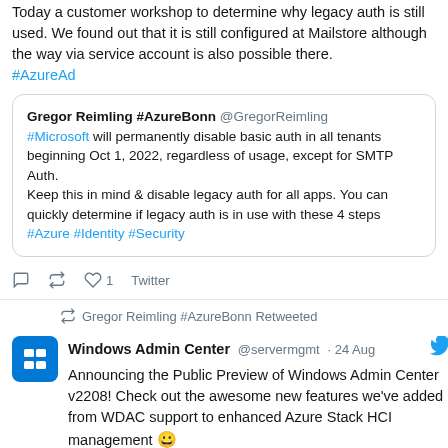Today a customer workshop to determine why legacy auth is still used. We found out that it is still configured at Mailstore although the way via service account is also possible there.
#AzureAd
Gregor Reimling #AzureBonn @GregorReimling
#Microsoft will permanently disable basic auth in all tenants beginning Oct 1, 2022, regardless of usage, except for SMTP Auth.
Keep this in mind & disable legacy auth for all apps.
You can quickly determine if legacy auth is in use with these 4 steps #Azure #Identity #Security
1  Twitter
Gregor Reimling #AzureBonn Retweeted
Windows Admin Center @servermgmt · 24 Aug
Announcing the Public Preview of Windows Admin Center v2208! Check out the awesome new features we've added from WDAC support to enhanced Azure Stack HCI management 😀
https://techcommunity.microsoft.com/t5/windows-admin-center-blog/...